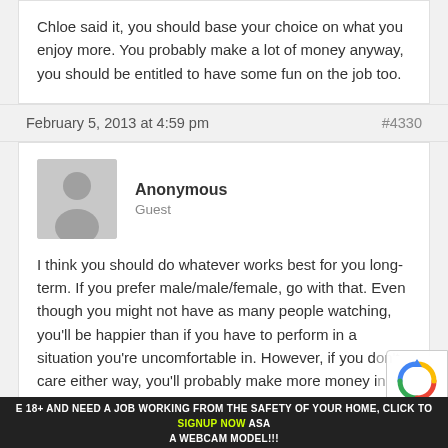Chloe said it, you should base your choice on what you enjoy more. You probably make a lot of money anyway, you should be entitled to have some fun on the job too.
February 5, 2013 at 4:59 pm    #4330
Anonymous
Guest
I think you should do whatever works best for you long-term. If you prefer male/male/female, go with that. Even though you might not have as many people watching, you'll be happier than if you have to perform in a situation you're uncomfortable in. However, if you don't care either way, you'll probably make more money in female/female/male threesome.
E 18+ AND NEED A JOB WORKING FROM THE SAFETY OF YOUR HOME, CLICK TO SIGNUP NOW ASAC A WEBCAM MODEL!!!